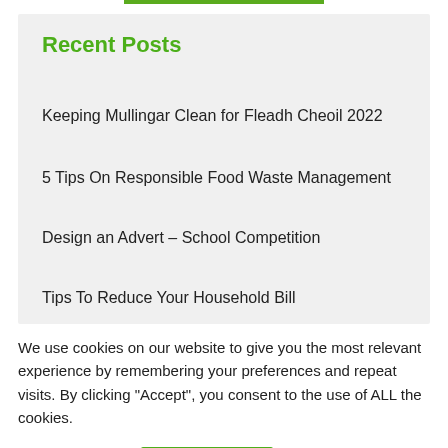Recent Posts
Keeping Mullingar Clean for Fleadh Cheoil 2022
5 Tips On Responsible Food Waste Management
Design an Advert – School Competition
Tips To Reduce Your Household Bill
We use cookies on our website to give you the most relevant experience by remembering your preferences and repeat visits. By clicking "Accept", you consent to the use of ALL the cookies.
Cookie settings   ACCEPT